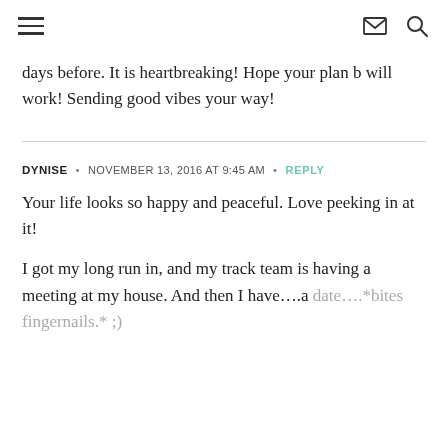☰  ✉ 🔍
days before. It is heartbreaking! Hope your plan b will work! Sending good vibes your way!
DYNISE • NOVEMBER 13, 2016 AT 9:45 AM • REPLY
Your life looks so happy and peaceful. Love peeking in at it!
I got my long run in, and my track team is having a meeting at my house. And then I have….a date….*bites fingernails.* ;)